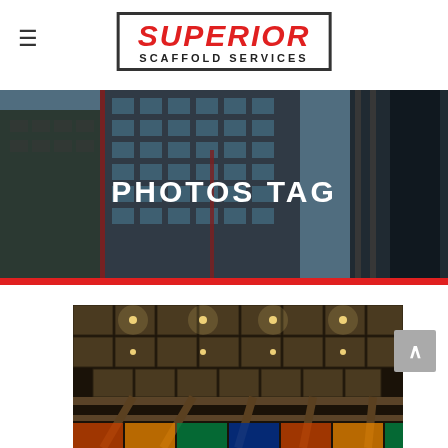≡  SUPERIOR SCAFFOLD SERVICES
PHOTOS TAG
[Figure (photo): Construction building with scaffolding viewed from below at an angle, blue sky background]
[Figure (photo): Interior underside of scaffolding or bridge structure with lights illuminating wooden planks and colorful stained glass visible at bottom]